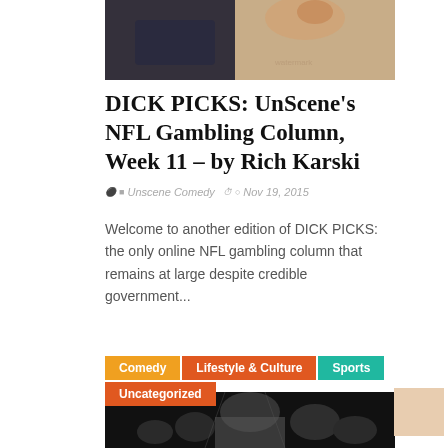[Figure (photo): Top photo showing a cat near shoes on a carpet surface]
DICK PICKS: UnScene's NFL Gambling Column, Week 11 – by Rich Karski
Unscene Comedy  Nov 19, 2015
Welcome to another edition of DICK PICKS: the only online NFL gambling column that remains at large despite credible government...
[Figure (photo): Bottom image showing crowd at a concert/event in black and white, with category tags Comedy, Lifestyle & Culture, Sports, Uncategorized overlaid]